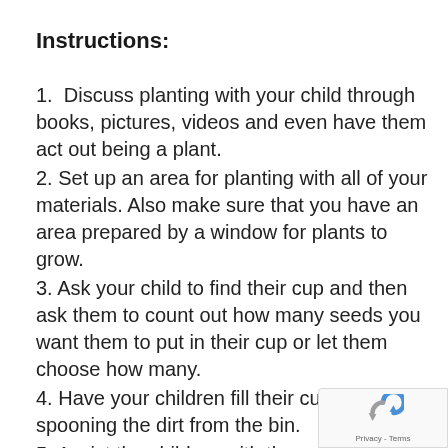Instructions:
1.  Discuss planting with your child through books, pictures, videos and even have them act out being a plant.
2. Set up an area for planting with all of your materials. Also make sure that you have an area prepared by a window for plants to grow.
3. Ask your child to find their cup and then ask them to count out how many seeds you want them to put in their cup or let them choose how many.
4. Have your children fill their cups by spooning the dirt from the bin.
5. Assist the children with the water can water their seeds.